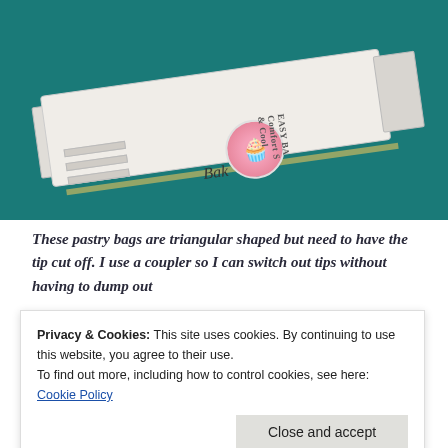[Figure (photo): A white rectangular pastry bag box lying diagonally on a teal background. The box shows a pink cupcake graphic and text reading 'EASY BA...' and 'Bak...'. The box has a yellow-gold stripe and appears to be a brand of disposable pastry/piping bags.]
These pastry bags are triangular shaped but need to have the tip cut off. I use a coupler so I can switch out tips without having to dump out the frosting every time.
Privacy & Cookies: This site uses cookies. By continuing to use this website, you agree to their use.
To find out more, including how to control cookies, see here: Cookie Policy
Close and accept
you're ever in Stuttgart, do check out a Kitchen